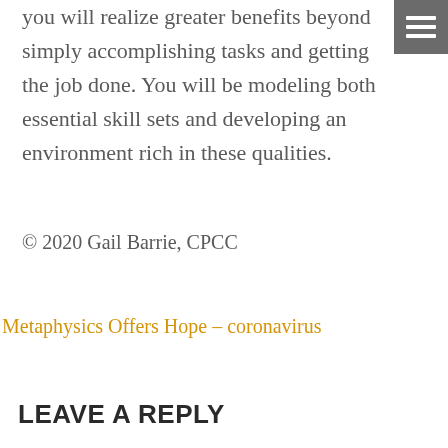[Figure (other): Hamburger menu icon — three white horizontal bars on a dark grey square background, top-right corner]
you will realize greater benefits beyond simply accomplishing tasks and getting the job done. You will be modeling both essential skill sets and developing an environment rich in these qualities.
© 2020 Gail Barrie, CPCC
Metaphysics Offers Hope – coronavirus
LEAVE A REPLY